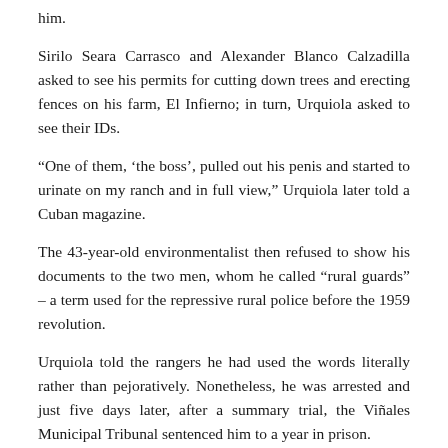him.
Sirilo Seara Carrasco and Alexander Blanco Calzadilla asked to see his permits for cutting down trees and erecting fences on his farm, El Infierno; in turn, Urquiola asked to see their IDs.
“One of them, ‘the boss’, pulled out his penis and started to urinate on my ranch and in full view,” Urquiola later told a Cuban magazine.
The 43-year-old environmentalist then refused to show his documents to the two men, whom he called “rural guards” – a term used for the repressive rural police before the 1959 revolution.
Urquiola told the rangers he had used the words literally rather than pejoratively. Nonetheless, he was arrested and just five days later, after a summary trial, the Viñales Municipal Tribunal sentenced him to a year in prison.